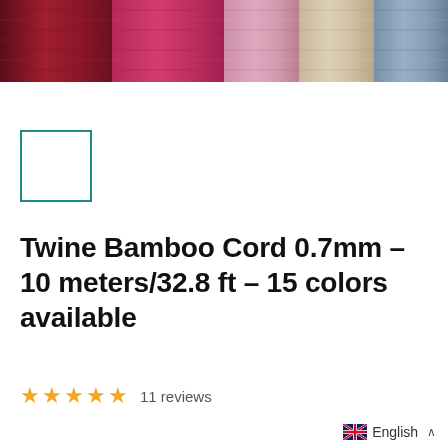[Figure (photo): Color swatches of yarn/twine in various colors: dark red/maroon, hot pink, light pink, beige/tan, and steel blue, shown as spools from above]
[Figure (photo): Single selected color swatch box with teal/turquoise border, white fill — appears to be a color selector UI element]
Twine Bamboo Cord 0.7mm - 10 meters/32.8 ft - 15 colors available
★★★★★ 11 reviews
English